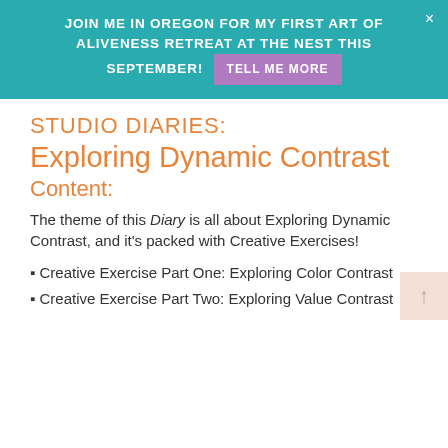JOIN ME IN OREGON FOR MY FIRST ART OF ALIVENESS RETREAT AT THE NEST THIS SEPTEMBER! TELL ME MORE
STUDIO DIARIES:
Exploring Dynamic Contrast
Content:
The theme of this Diary is all about Exploring Dynamic Contrast, and it's packed with Creative Exercises!
▪ Creative Exercise Part One: Exploring Color Contrast
▪ Creative Exercise Part Two: Exploring Value Contrast